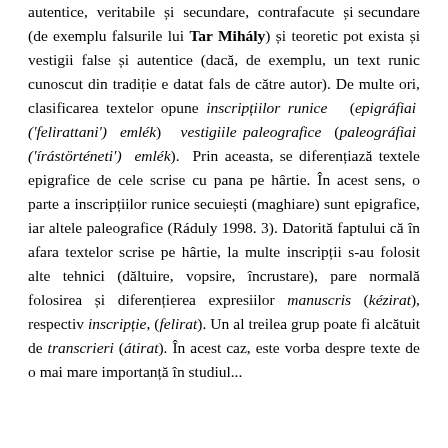autentice, veritabile și secundare, contrafacute și secundare (de exemplu falsurile lui Tar Mihály) și teoretic pot exista și vestigii false și autentice (dacă, de exemplu, un text runic cunoscut din tradiție e datat fals de către autor). De multe ori, clasificarea textelor opune inscripțiilor runice (epigráfiai ('felirattani') emlék) vestigiile paleografice (paleográfiai ('írástörténeti') emlék). Prin aceasta, se diferențiază textele epigrafice de cele scrise cu pana pe hârtie. În acest sens, o parte a inscripțiilor runice secuiești (maghiare) sunt epigrafice, iar altele paleografice (Ráduly 1998. 3). Datorită faptului că în afara textelor scrise pe hârtie, la multe inscripții s-au folosit alte tehnici (dăltuire, vopsire, încrustare), pare normală folosirea și diferențierea expresiilor manuscris (kézirat), respectiv inscripție, (felirat). Un al treilea grup poate fi alcătuit de transcrieri (átirat). În acest caz, este vorba despre texte de o mai mare importanță în studiul...